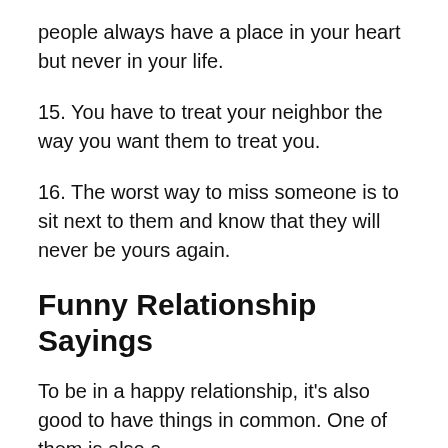people always have a place in your heart but never in your life.
15. You have to treat your neighbor the way you want them to treat you.
16. The worst way to miss someone is to sit next to them and know that they will never be yours again.
Funny Relationship Sayings
To be in a happy relationship, it's also good to have things in common. One of them is also a